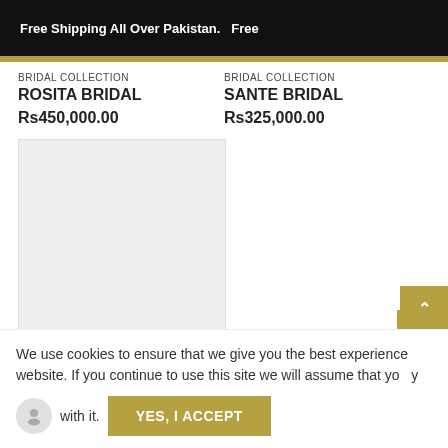Free Shipping All Over Pakistan.   Free
BRIDAL COLLECTION
ROSITA BRIDAL
Rs450,000.00
BRIDAL COLLECTION
SANTE BRIDAL
Rs325,000.00
[Figure (photo): Light gray product image placeholder rectangle]
PKR
+
^
WhatsApp icon button
We use cookies to ensure that we give you the best experience website. If you continue to use this site we will assume that yo y with it. YES, I ACCEPT